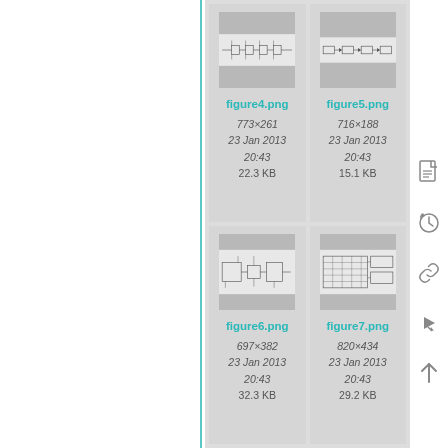[Figure (screenshot): File gallery showing four engineering diagram image files: figure4.png (773×261, 23 Jan 2013 20:43, 22.3 KB), figure5.png (716×188, 23 Jan 2013 20:43, 15.1 KB), figure6.png (697×382, 23 Jan 2013 20:43, 32.3 KB), figure7.png (820×434, 23 Jan 2013 20:43, 29.2 KB)]